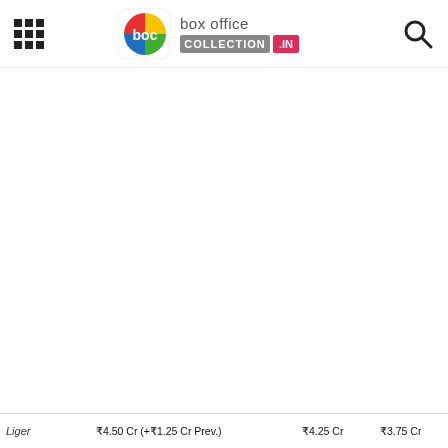Box Office Collection .IN — navigation header with logo and search icon
[Figure (logo): Box Office Collection .IN logo with colorful boc icon and text]
Liger   ₹4.50 Cr (+₹1.25 Cr Prev.)   ₹4.25 Cr   ₹3.75 Cr